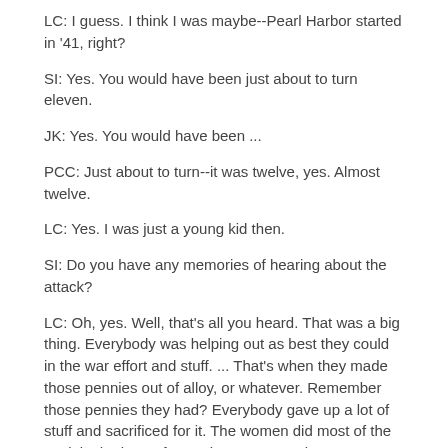LC: I guess. I think I was maybe--Pearl Harbor started in '41, right?
SI: Yes. You would have been just about to turn eleven.
JK: Yes. You would have been ...
PCC: Just about to turn--it was twelve, yes. Almost twelve.
LC: Yes. I was just a young kid then.
SI: Do you have any memories of hearing about the attack?
LC: Oh, yes. Well, that's all you heard. That was a big thing. Everybody was helping out as best they could in the war effort and stuff. ... That's when they made those pennies out of alloy, or whatever. Remember those pennies they had? Everybody gave up a lot of stuff and sacrificed for it. The women did most of the work in the home front. They were good. My mom was making uniforms and stuff. Yes, it was a patriotic call to arms, is what it was and it was nice.
SI: Do you remember where you were or how you heard about the attack? Was it on the radio?
LC: I guess I must have been--yes, I think we heard it from Roosevelt speak on the radio. We didn't have television. We heard it over the